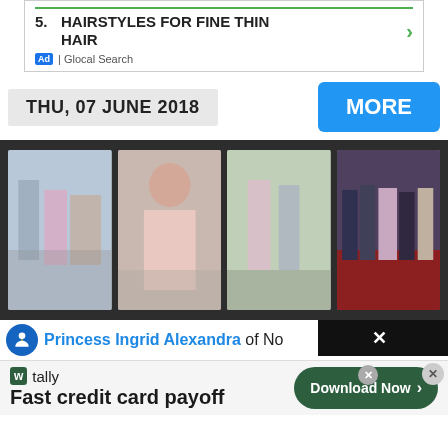5. HAIRSTYLES FOR FINE THIN HAIR
Ad | Glocal Search
THU, 07 JUNE 2018
MORE
[Figure (photo): Four thumbnail photos of royals including Princess Ingrid Alexandra event, woman in pink dress, couple walking outdoors, and group in traditional Norwegian dress on red carpet]
Princess Ingrid Alexandra of No...
tally - Fast credit card payoff - Download Now